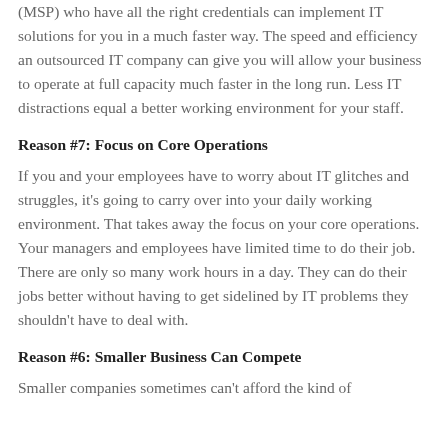(MSP) who have all the right credentials can implement IT solutions for you in a much faster way. The speed and efficiency an outsourced IT company can give you will allow your business to operate at full capacity much faster in the long run. Less IT distractions equal a better working environment for your staff.
Reason #7: Focus on Core Operations
If you and your employees have to worry about IT glitches and struggles, it's going to carry over into your daily working environment. That takes away the focus on your core operations. Your managers and employees have limited time to do their job. There are only so many work hours in a day. They can do their jobs better without having to get sidelined by IT problems they shouldn't have to deal with.
Reason #6: Smaller Business Can Compete
Smaller companies sometimes can't afford the kind of